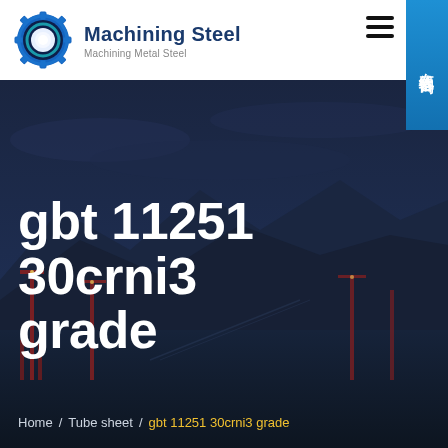Machining Steel — Machining Metal Steel
[Figure (logo): Gear/cog logo icon with blue metallic gear ring and light center, representing Machining Steel brand]
gbt 11251 30crni3 grade
[Figure (photo): Industrial port/harbor scene at dusk with dark blue sky, mountain silhouettes in background, and red crane structures visible in foreground]
Home / Tube sheet / gbt 11251 30crni3 grade